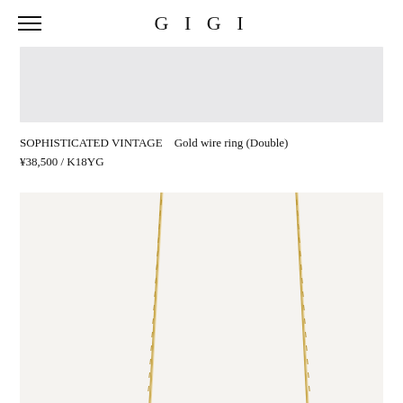GIGI
[Figure (photo): Light gray/lavender rectangular image area at the top — cropped product or brand lifestyle image]
SOPHISTICATED VINTAGE　Gold wire ring (Double)
¥38,500  / K18YG
[Figure (photo): Product photo of a gold cable chain necklace against a light neutral background, showing two strands of fine gold chain descending from the top]